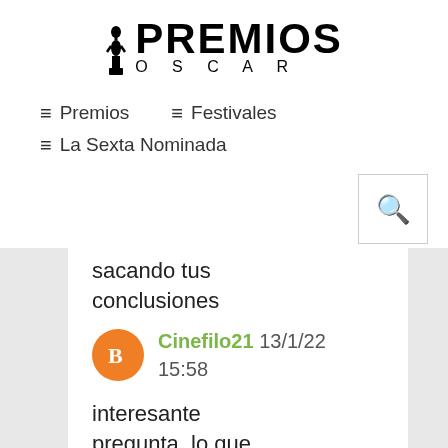[Figure (logo): Premios Oscar logo with Oscar statuette figure and bold PREMIOS text above OSCAR lettering]
≡ Premios   ≡ Festivales
≡ La Sexta Nominada
sacando tus conclusiones
Cinefilo21  13/1/22 15:58
interesante pregunta, lo que ocurre es que los actores que nombras son